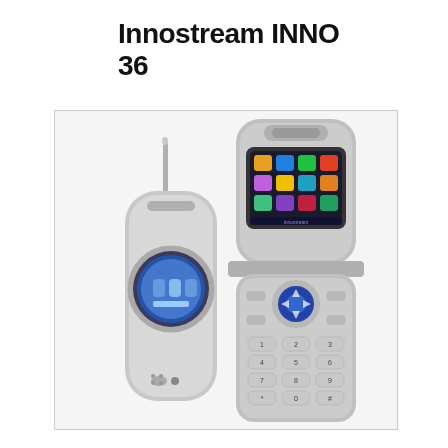Innostream INNO 36
[Figure (photo): Two views of the Innostream INNO 36 flip phone. Left: the phone closed, showing a silver clamshell design with a circular outer display showing a blue screen, an antenna on top, and speaker grilles at the bottom. Right: the phone open, showing the full internal display with colorful menu icons, navigation buttons, and a full numeric keypad. Both phones are silver/gray in color.]